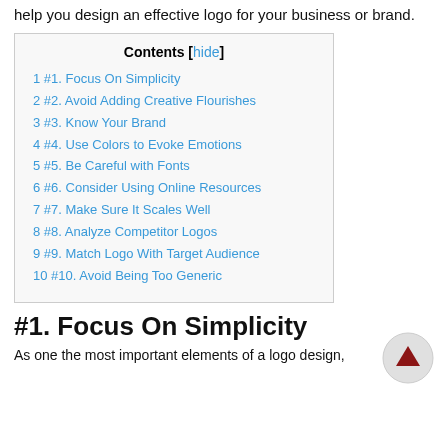help you design an effective logo for your business or brand.
1 #1. Focus On Simplicity
2 #2. Avoid Adding Creative Flourishes
3 #3. Know Your Brand
4 #4. Use Colors to Evoke Emotions
5 #5. Be Careful with Fonts
6 #6. Consider Using Online Resources
7 #7. Make Sure It Scales Well
8 #8. Analyze Competitor Logos
9 #9. Match Logo With Target Audience
10 #10. Avoid Being Too Generic
#1. Focus On Simplicity
As one the most important elements of a logo design,